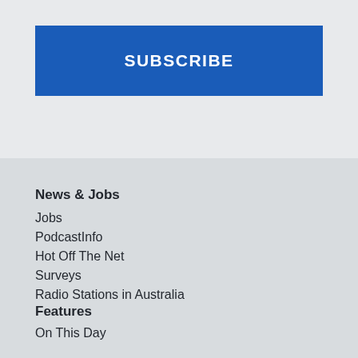SUBSCRIBE
News & Jobs
Jobs
PodcastInfo
Hot Off The Net
Surveys
Radio Stations in Australia
Features
On This Day